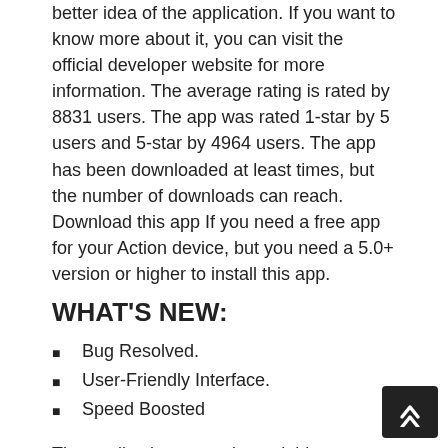better idea of the application. If you want to know more about it, you can visit the official developer website for more information. The average rating is rated by 8831 users. The app was rated 1-star by 5 users and 5-star by 4964 users. The app has been downloaded at least times, but the number of downloads can reach. Download this app If you need a free app for your Action device, but you need a 5.0+ version or higher to install this app.
WHAT'S NEW:
Bug Resolved.
User-Friendly Interface.
Speed Boosted
The application was released this year, and has been available on ApkHunt.in ever since. The current version is - and since then it has been downloaded